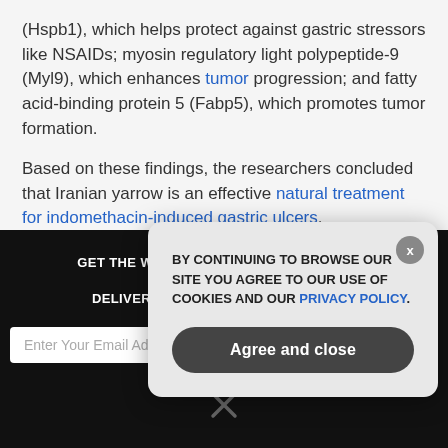(Hspb1), which helps protect against gastric stressors like NSAIDs; myosin regulatory light polypeptide-9 (Myl9), which enhances tumor progression; and fatty acid-binding protein 5 (Fabp5), which promotes tumor formation.
Based on these findings, the researchers concluded that Iranian yarrow is an effective natural treatment for indomethacin-induced gastric ulcers.
Sources include:
GET THE WORLD'S BEST NATURAL HEALTH NEWSLETTER DELIVERED STRAIGHT TO YOUR INBOX
Enter Your Email Address
SUBSCRIBE
BY CONTINUING TO BROWSE OUR SITE YOU AGREE TO OUR USE OF COOKIES AND OUR PRIVACY POLICY.
Agree and close